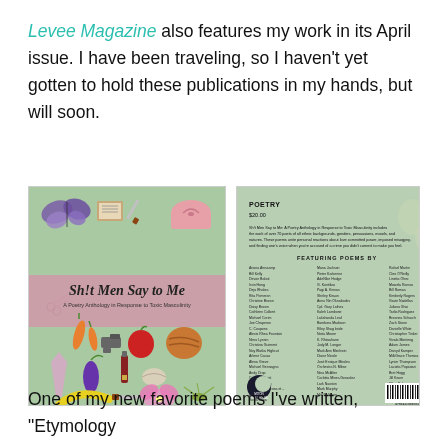Levee Magazine also features my work in its April issue. I have been traveling, so I haven't yet gotten to hold these publications in my hands, but will soon.
[Figure (photo): Front and back cover of the book 'Sh!t Men Say to Me: A Poetry Anthology in Response to Toxic Masculinity'. Front cover has a green background with illustrated objects (butterfly, notebook, knife, purse, scissors, carrots, gun, apple, baseball glove, crystal, eggplant, wine bottle, clam shell, banana, knife, orchid, grasshopper) and a pink band with the italic title. Back cover shows poetry label, price $20.00, description text, list of featured poets in columns, a moon/press logo, and a barcode.]
One of my new favorite poems I've written, "Etymology